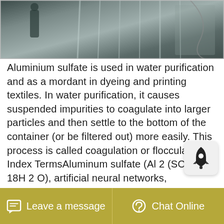[Figure (photo): Outdoor photo showing a person and industrial or construction equipment, muted blue-grey tones]
Aluminium sulfate is used in water purification and as a mordant in dyeing and printing textiles. In water purification, it causes suspended impurities to coagulate into larger particles and then settle to the bottom of the container (or be filtered out) more easily. This process is called coagulation or flocculation. Index TermsAluminum sulfate (Al 2 (SO 4) 3 18H 2 O), artificial neural networks, coagulation, flocculation, optimal dosage of coagulant. I. INTRODUCTION. The potabilization process aims to offer safe water that fulfill the requirements established in the local regulations. Inside these
Leave a message   Chat Online